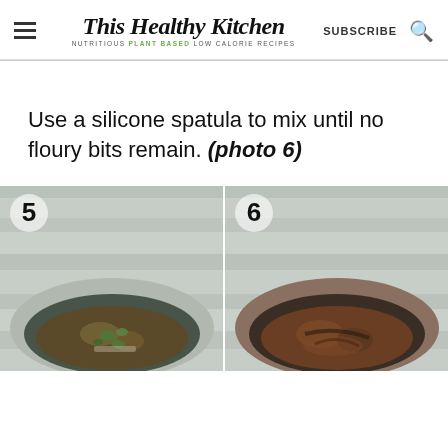This Healthy Kitchen — NUTRITIOUS PLANT BASED LOW CALORIE RECIPES | SUBSCRIBE
Use a silicone spatula to mix until no floury bits remain. (photo 6)
[Figure (photo): Two-panel step photo: step 5 shows a mixing bowl with dry spices and green herbs on a rustic white wood surface; step 6 shows the same bowl after mixing with darker brown blended spice mixture.]